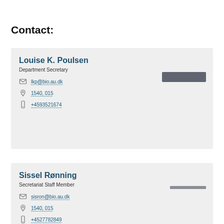Contact:
Louise K. Poulsen
Department Secretary
lkp@bio.au.dk
1540, 015
+4593521674
Sissel Rønning
Secretariat Staff Member
sisron@bio.au.dk
1540, 015
+4527782849